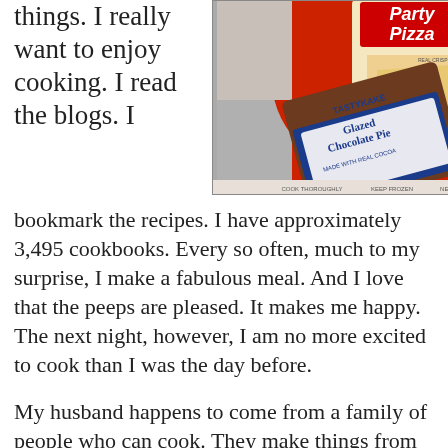things. I really want to enjoy cooking. I read the blogs. I
[Figure (photo): Photo of a Tastykake Glazed Chocolate Pie package and a Party Pizza box with crisp crust, showing food product packaging]
bookmark the recipes. I have approximately 3,495 cookbooks. Every so often, much to my surprise, I make a fabulous meal. And I love that the peeps are pleased. It makes me happy. The next night, however, I am no more excited to cook than I was the day before.

My husband happens to come from a family of people who can cook. They make things from scratch and just happen to have things like juniper berries in their pantry.